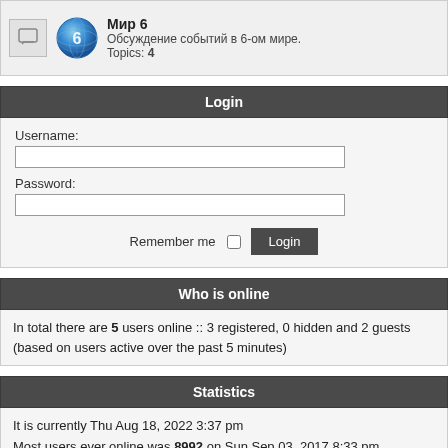Мир 6 — Обсуждение событий в 6-ом мире. Topics: 4
Login
Username:
Password:
Remember me  [checkbox]  Login
Who is online
In total there are 5 users online :: 3 registered, 0 hidden and 2 guests (based on users active over the past 5 minutes)
Statistics
It is currently Thu Aug 18, 2022 3:37 pm
Most users ever online was 8992 on Sun Sep 03, 2017 8:33 pm

Total posts 157344 • Total topics 27018 • Total members 194109 • Our newest member cobangu